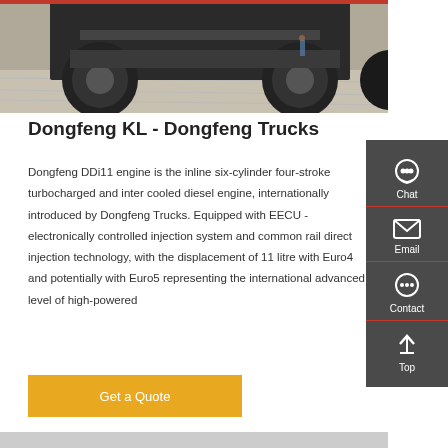[Figure (photo): Underside and rear view of a Dongfeng KL truck on a paved surface, showing large tires and chassis.]
Dongfeng KL - Dongfeng Trucks
Dongfeng DDi11 engine is the inline six-cylinder four-stroke turbocharged and inter cooled diesel engine, internationally introduced by Dongfeng Trucks. Equipped with EECU - electronically controlled injection system and common rail direct injection technology, with the displacement of 11 litre with Euro4 and potentially with Euro5 representing the international advanced level of high-powered
Get a Quote